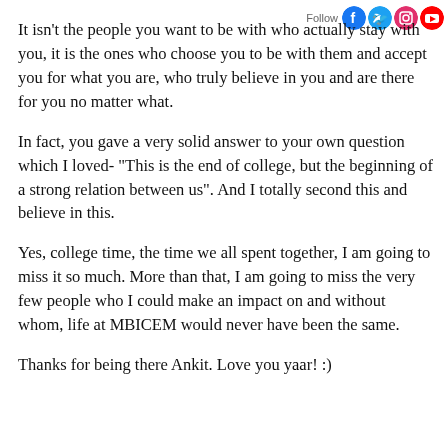It isn't the people you want to be with who actually stay with you, it is the ones who choose you to be with them and accept you for what you are, who truly believe in you and are there for you no matter what.
In fact, you gave a very solid answer to your own question which I loved- "This is the end of college, but the beginning of a strong relation between us". And I totally second this and believe in this.
Yes, college time, the time we all spent together, I am going to miss it so much. More than that, I am going to miss the very few people who I could make an impact on and without whom, life at MBICEM would never have been the same.
Thanks for being there Ankit. Love you yaar! :)